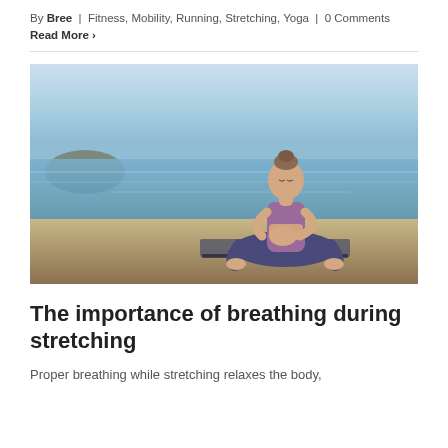By Bree | Fitness, Mobility, Running, Stretching, Yoga | 0 Comments
Read More >
[Figure (photo): Woman in yoga meditation pose sitting cross-legged on a mat by the ocean/sea, hands together in prayer position, wearing purple yoga pants and a sports bra top. Outdoor beach/waterfront setting with blue sky and water in background.]
The importance of breathing during stretching
Proper breathing while stretching relaxes the body,